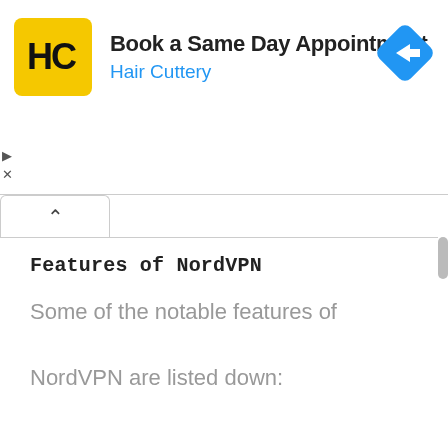[Figure (screenshot): Hair Cuttery advertisement banner: HC logo (yellow square with black HC text), headline 'Book a Same Day Appointment', subheadline 'Hair Cuttery' in blue, blue diamond navigation icon on the right, play and close controls on far left.]
Features of NordVPN
Some of the notable features of NordVPN are listed down: